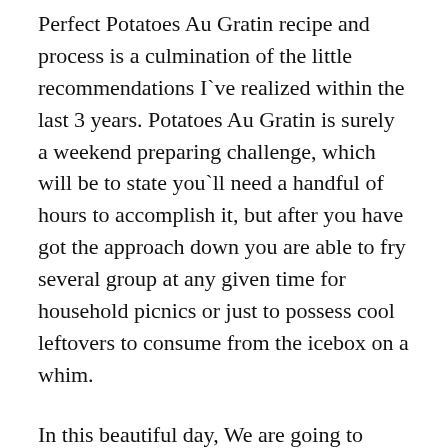Perfect Potatoes Au Gratin recipe and process is a culmination of the little recommendations I`ve realized within the last 3 years. Potatoes Au Gratin is surely a weekend preparing challenge, which will be to state you`ll need a handful of hours to accomplish it, but after you have got the approach down you are able to fry several group at any given time for household picnics or just to possess cool leftovers to consume from the icebox on a whim.
In this beautiful day, We are going to teach you making Potatoes Au Gratin At home with simple ingredients, just like Chinese restaurants. My Potatoes Au Gratin recipe is the greatest in the world!